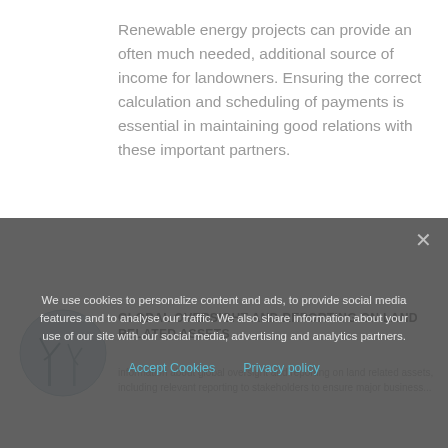Renewable energy projects can provide an often much needed, additional source of income for landowners. Ensuring the correct calculation and scheduling of payments is essential in maintaining good relations with these important partners.
[Figure (illustration): Circular blue-grey illustration showing wind turbines]
GLOBAL OVERSIGHT AND REPORTING ON LAND RELATED ASSETS
Body text partially obscured by cookie banner overlay — content about global oversight and land related assets, reporting to relevant stakeholders to ensure major business...
We use cookies to personalize content and ads, to provide social media features and to analyse our traffic. We also share information about your use of our site with our social media, advertising and analytics partners.